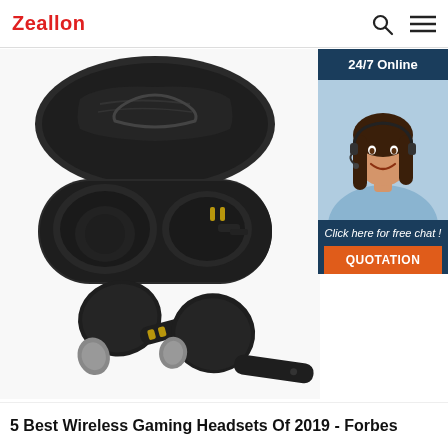Zeallon
[Figure (photo): Black true wireless earbuds with charging case. The case is open showing two earbud slots with gold charging contacts. Two individual earbuds are shown below the case, each with gray silicone ear tips and gold charging contacts on the stems.]
[Figure (photo): 24/7 Online chat widget showing a female customer service agent wearing a headset, smiling. Below the image is text 'Click here for free chat!' with an orange QUOTATION button.]
5 Best Wireless Gaming Headsets Of 2019 - Forbes